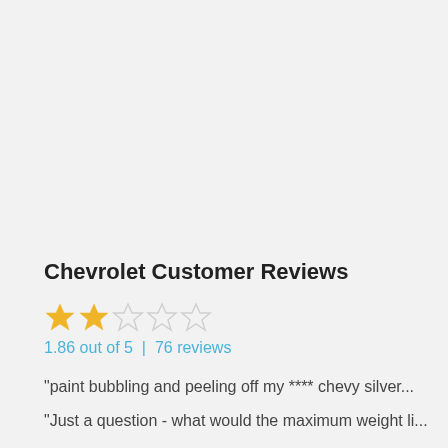Chevrolet Customer Reviews
1.86 out of 5 | 76 reviews
"paint bubbling and peeling off my **** chevy silver...
"Just a question - what would the maximum weight li...